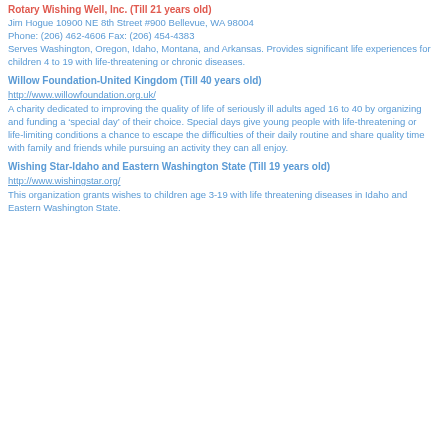Rotary Wishing Well, Inc. (Till 21 years old)
Jim Hogue 10900 NE 8th Street #900 Bellevue, WA 98004
Phone: (206) 462-4606 Fax: (206) 454-4383
Serves Washington, Oregon, Idaho, Montana, and Arkansas. Provides significant life experiences for children 4 to 19 with life-threatening or chronic diseases.
Willow Foundation-United Kingdom (Till 40 years old)
http://www.willowfoundation.org.uk/
A charity dedicated to improving the quality of life of seriously ill adults aged 16 to 40 by organizing and funding a ‘special day’ of their choice. Special days give young people with life-threatening or life-limiting conditions a chance to escape the difficulties of their daily routine and share quality time with family and friends while pursuing an activity they can all enjoy.
Wishing Star-Idaho and Eastern Washington State (Till 19 years old)
http://www.wishingstar.org/
This organization grants wishes to children age 3-19 with life threatening diseases in Idaho and Eastern Washington State.